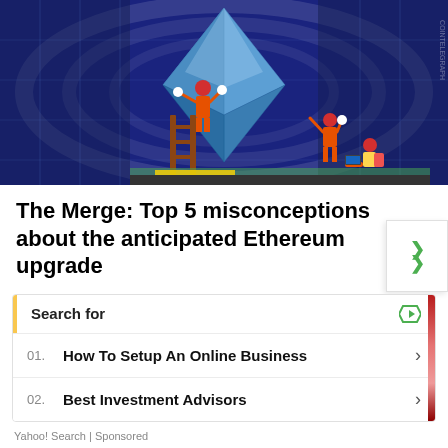[Figure (illustration): Illustration of the Ethereum diamond logo being worked on by construction workers inside a tunnel. Two workers on scaffolding and ladders are adjusting the large blue Ethereum diamond shape, while another worker sits at a laptop on the ground. The background features a circular tunnel with blue-toned lighting.]
The Merge: Top 5 misconceptions about the anticipated Ethereum upgrade
[Figure (other): Scroll-up button with double chevron (up arrow) icon in green on white background with border.]
| Search for |  |
| --- | --- |
| 01.  How To Setup An Online Business | > |
| 02.  Best Investment Advisors | > |
Yahoo! Search | Sponsored